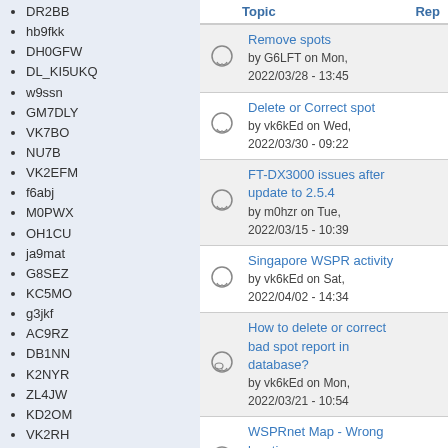DR2BB
hb9fkk
DH0GFW
DL_KI5UKQ
w9ssn
GM7DLY
VK7BO
NU7B
VK2EFM
f6abj
M0PWX
OH1CU
ja9mat
G8SEZ
KC5MO
g3jkf
AC9RZ
DB1NN
K2NYR
ZL4JW
KD2OM
VK2RH
N5ODX
sm5hdn
OE3GBB
GM0UDL
ti2jfs
| Topic | Rep |
| --- | --- |
| Remove spots by G6LFT on Mon, 2022/03/28 - 13:45 |  |
| Delete or Correct spot by vk6kEd on Wed, 2022/03/30 - 09:22 |  |
| FT-DX3000 issues after update to 2.5.4 by m0hzr on Tue, 2022/03/15 - 10:39 |  |
| Singapore WSPR activity by vk6kEd on Sat, 2022/04/02 - 14:34 |  |
| How to delete or correct bad spot report in database? by vk6kEd on Mon, 2022/03/21 - 10:54 |  |
| WSPRnet Map - Wrong location. by G4ZFQ on Thu, 2022/04/14 - 18:35 |  |